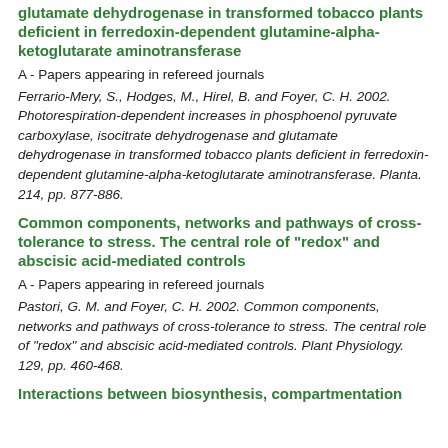glutamate dehydrogenase in transformed tobacco plants deficient in ferredoxin-dependent glutamine-alpha-ketoglutarate aminotransferase
A - Papers appearing in refereed journals
Ferrario-Mery, S., Hodges, M., Hirel, B. and Foyer, C. H. 2002. Photorespiration-dependent increases in phosphoenol pyruvate carboxylase, isocitrate dehydrogenase and glutamate dehydrogenase in transformed tobacco plants deficient in ferredoxin-dependent glutamine-alpha-ketoglutarate aminotransferase. Planta. 214, pp. 877-886.
Common components, networks and pathways of cross-tolerance to stress. The central role of "redox" and abscisic acid-mediated controls
A - Papers appearing in refereed journals
Pastori, G. M. and Foyer, C. H. 2002. Common components, networks and pathways of cross-tolerance to stress. The central role of "redox" and abscisic acid-mediated controls. Plant Physiology. 129, pp. 460-468.
Interactions between biosynthesis, compartmentation